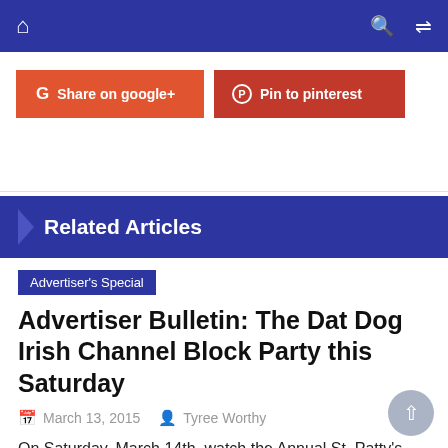Navigation bar with home, search, and shuffle icons
[Figure (screenshot): Social share buttons: 'Share on google+' (red/orange) and 'Pin to pinterest' (dark red)]
Related Articles
Advertiser's Special
Advertiser Bulletin: The Dat Dog Irish Channel Block Party this Saturday
March 13, 2015   Tyree Worthy
On Saturday, March 14th, watch the Annual St. Patty's Day Irish Channel Parade from Dat Dog's Magazine location, featuring outdoor